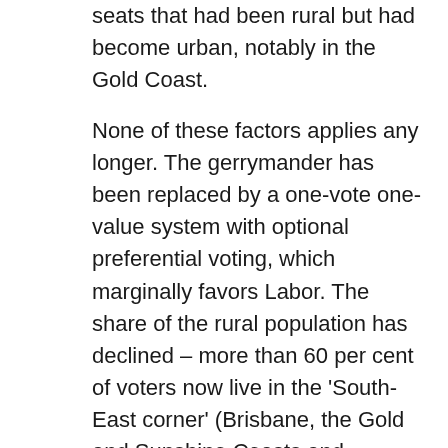seats that had been rural but had become urban, notably in the Gold Coast.
None of these factors applies any longer. The gerrymander has been replaced by a one-vote one-value system with optional preferential voting, which marginally favors Labor. The share of the rural population has declined – more than 60 per cent of voters now live in the 'South-East corner' (Brisbane, the Gold and Sunshine Coasts and Ipswich) with a another large share in coastal cities like Townsville and Cairns. The people living in these areas, even outside Brisbane itself, have no more natural affinity with the Nationals than does the average resident of, say, Newcastle or Geelong, Finally, the National Party lost most of its Gold Coast seats in the wipeout in the last election. Once the advantage of incumbency is lost, the natural alternative to Labor in these seats